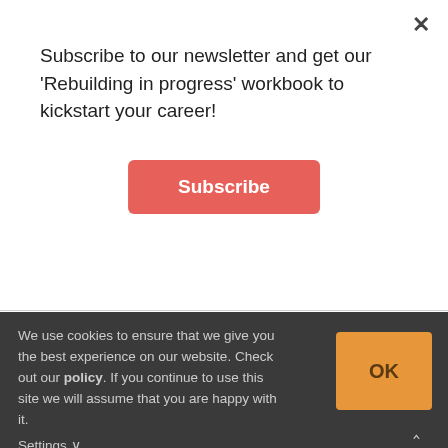×
Subscribe to our newsletter and get our 'Rebuilding in progress' workbook to kickstart your career!
Subscribe
hour, literally rested his head on a folder and sighed through the second part. I was so angry that I asked different unimportant questions until we ended 1 hour later. So I made the comfortable half an hour interview to a 1,5 hours hell for him and for me too.
We use cookies to ensure that we give you the best experience on our website. Check out our policy. If you continue to use this site we will assume that you are happy with it.
Settings ∨
OK